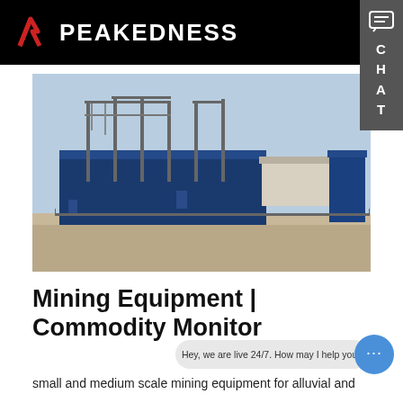PEAKEDNESS
[Figure (photo): Industrial mining equipment installation showing metal frame structures, blue-covered processing units, a white tanker/silo, and industrial machinery on a concrete platform under a clear sky.]
Mining Equipment | Commodity Monitor
Hey, we are live 24/7. How may I help you?
small and medium scale mining equipment for alluvial and